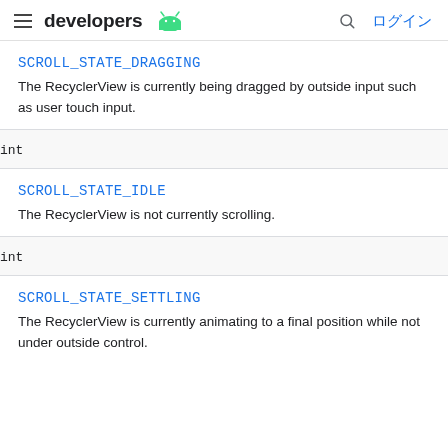developers ログイン
SCROLL_STATE_DRAGGING
The RecyclerView is currently being dragged by outside input such as user touch input.
int
SCROLL_STATE_IDLE
The RecyclerView is not currently scrolling.
int
SCROLL_STATE_SETTLING
The RecyclerView is currently animating to a final position while not under outside control.